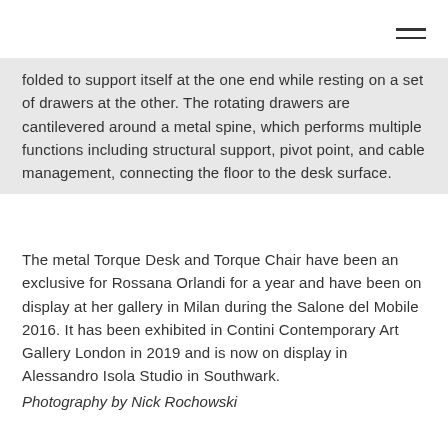folded to support itself at the one end while resting on a set of drawers at the other. The rotating drawers are cantilevered around a metal spine, which performs multiple functions including structural support, pivot point, and cable management, connecting the floor to the desk surface.
The metal Torque Desk and Torque Chair have been an exclusive for Rossana Orlandi for a year and have been on display at her gallery in Milan during the Salone del Mobile 2016. It has been exhibited in Contini Contemporary Art Gallery London in 2019 and is now on display in Alessandro Isola Studio in Southwark.
Photography by Nick Rochowski